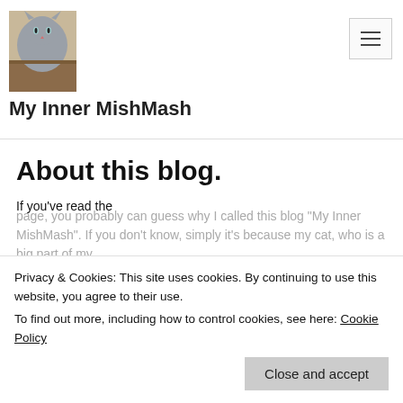[Figure (photo): A gray cat peeking over a ledge or shelf, photo used as blog header image]
My Inner MishMash
About this blog.
If you've read the
Privacy & Cookies: This site uses cookies. By continuing to use this website, you agree to their use.
To find out more, including how to control cookies, see here: Cookie Policy
page, you probably can guess why I called this blog "My Inner MishMash". If you don't know, simply it's because my cat, who is a big part of my